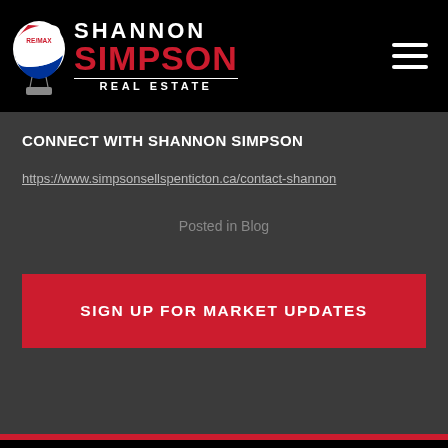SHANNON SIMPSON REAL ESTATE — RE/MAX header with hamburger menu
CONNECT WITH SHANNON SIMPSON
https://www.simpsonsellspenticton.ca/contact-shannon
Posted in Blog
SIGN UP FOR MARKET UPDATES
[Figure (logo): RE/MAX Shannon Simpson Real Estate logo at the bottom of the page (partial, black background)]